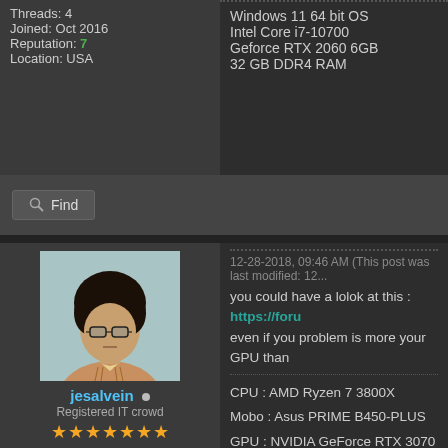Threads: 4
Joined: Oct 2016
Reputation: 7
Location: USA
Windows 11 64 bit OS
Intel Core i7-10700
Geforce RTX 2060 6GB
32 GB DDR4 RAM
Find
[Figure (photo): User avatar photo of jesalvein, a person with curly hair and glasses wearing a plaid shirt, against a light blue background]
jesalvein
Registered IT crowd
★★★★★★★
Posts: 27.771
Threads: 16
Joined: Dec 2008
Reputation: 561
Location: 127.0.0.1
12-28-2018, 09:46 AM (This post was last modified: 12...
you could have a lolok at this : https://foru
even if you problem is more your GPU than
CPU : AMD Ryzen 7 3800X
Mobo : Asus PRIME B450-PLUS
GPU : NVIDIA GeForce RTX 3070
RAM : 16 Go